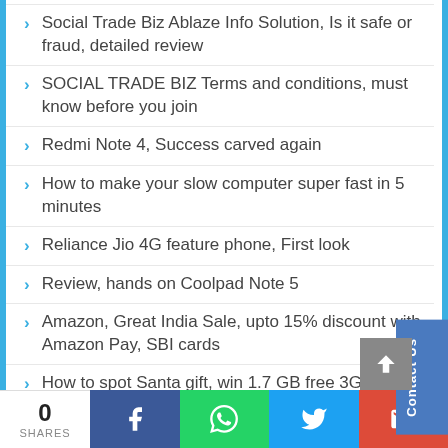Social Trade Biz Ablaze Info Solution, Is it safe or fraud, detailed review
SOCIAL TRADE BIZ Terms and conditions, must know before you join
Redmi Note 4, Success carved again
How to make your slow computer super fast in 5 minutes
Reliance Jio 4G feature phone, First look
Review, hands on Coolpad Note 5
Amazon, Great India Sale, upto 15% discount with Amazon Pay, SBI cards
How to spot Santa gift, win 1.7 GB free 3G/4G data on Vodafone
Top 10 Core i5 laptops, available online
NOKIA 6, In full glory returns to Android